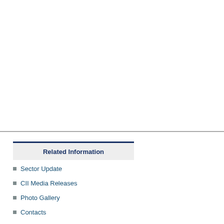Related Information
Sector Update
CII Media Releases
Photo Gallery
Contacts
Membership